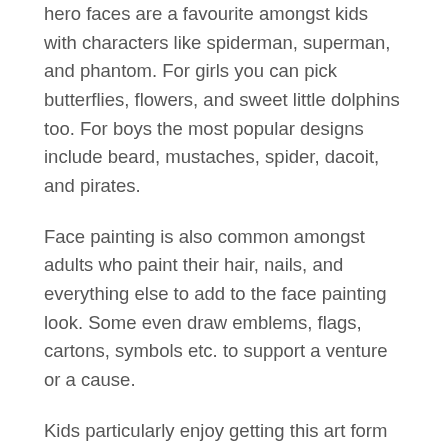hero faces are a favourite amongst kids with characters like spiderman, superman, and phantom. For girls you can pick butterflies, flowers, and sweet little dolphins too. For boys the most popular designs include beard, mustaches, spider, dacoit, and pirates.
Face painting is also common amongst adults who paint their hair, nails, and everything else to add to the face painting look. Some even draw emblems, flags, cartons, symbols etc. to support a venture or a cause.
Kids particularly enjoy getting this art form done over them. This particularly adds to their fantasy of playing the part of their favorite character. A long beard, big mustaches, black eye patch and here's the pirate. Or the ferocious tiger look for your little son. There is just so much to experiment with from the wicked witch to the funny bee. Face painting for kids is like a dream activity.